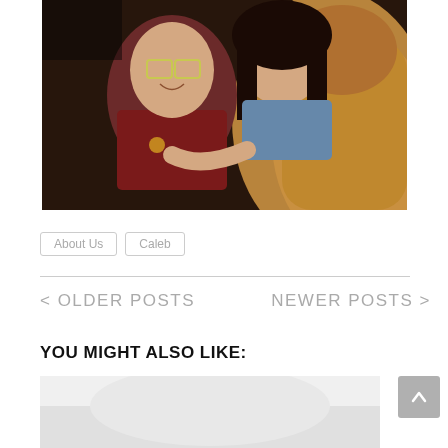[Figure (photo): Old photograph of two people: a young child with curly hair and glasses wearing a maroon shirt, being hugged by a teenage girl with dark hair wearing a blue top, sitting near a tan/brown leather chair]
About Us   Caleb
< OLDER POSTS
NEWER POSTS >
YOU MIGHT ALSO LIKE:
[Figure (photo): Partially visible thumbnail image, appears light/white toned]